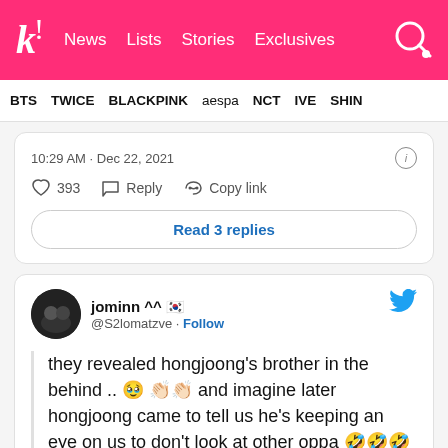K! News Lists Stories Exclusives
BTS TWICE BLACKPINK aespa NCT IVE SHINE
10:29 AM · Dec 22, 2021
♡ 393   Reply   Copy link
Read 3 replies
jominn ^^ 🇰🇷
@S2lomatzve · Follow

they revealed hongjoong's brother in the behind .. 🥹 👏🏻👏🏻 and imagine later hongjoong came to tell us he's keeping an eye on us to don't look at other oppa 🤣🤣🤣